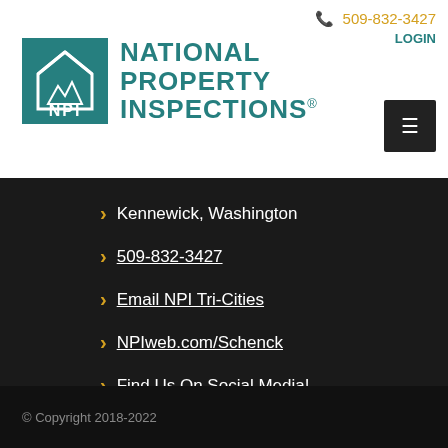509-832-3427
LOGIN
[Figure (logo): NPI National Property Inspections logo with teal square icon and company name]
Kennewick, Washington
509-832-3427
Email NPI Tri-Cities
NPIweb.com/Schenck
Find Us On Social Media!
[Figure (illustration): Four social media icon circles: Facebook, Google+, LinkedIn, Twitter]
© Copyright 2018-2022